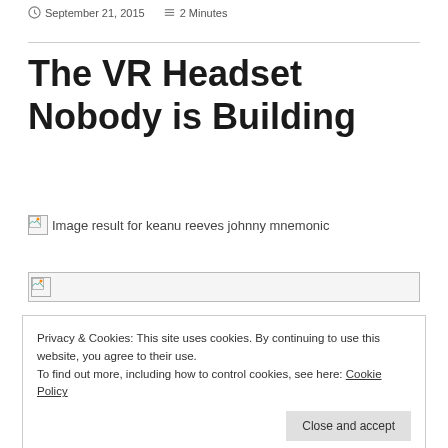September 21, 2015  2 Minutes
The VR Headset Nobody is Building
[Figure (photo): Broken image placeholder with alt text: Image result for keanu reeves johnny mnemonic]
[Figure (photo): Broken image placeholder (wide, no alt text)]
Privacy & Cookies: This site uses cookies. By continuing to use this website, you agree to their use. To find out more, including how to control cookies, see here: Cookie Policy